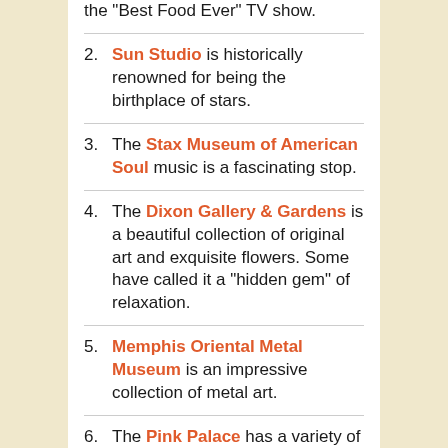(partial) the “Best Food Ever” TV show.
2. Sun Studio is historically renowned for being the birthplace of stars.
3. The Stax Museum of American Soul music is a fascinating stop.
4. The Dixon Gallery & Gardens is a beautiful collection of original art and exquisite flowers. Some have called it a “hidden gem” of relaxation.
5. Memphis Oriental Metal Museum is an impressive collection of metal art.
6. The Pink Palace has a variety of attractions maintained by the City of Memphis. It even sports an IMAX theatre!